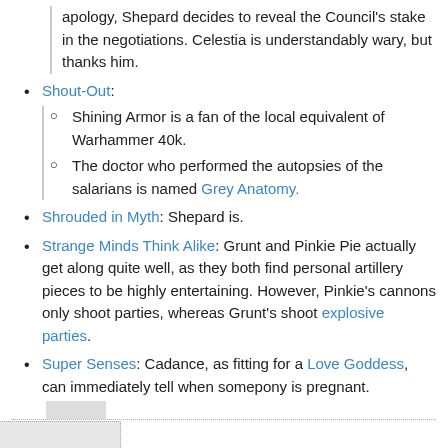apology, Shepard decides to reveal the Council's stake in the negotiations. Celestia is understandably wary, but thanks him.
Shout-Out:
Shining Armor is a fan of the local equivalent of Warhammer 40k.
The doctor who performed the autopsies of the salarians is named Grey Anatomy.
Shrouded in Myth: Shepard is.
Strange Minds Think Alike: Grunt and Pinkie Pie actually get along quite well, as they both find personal artillery pieces to be highly entertaining. However, Pinkie's cannons only shoot parties, whereas Grunt's shoot explosive parties.
Super Senses: Cadance, as fitting for a Love Goddess, can immediately tell when somepony is pregnant.